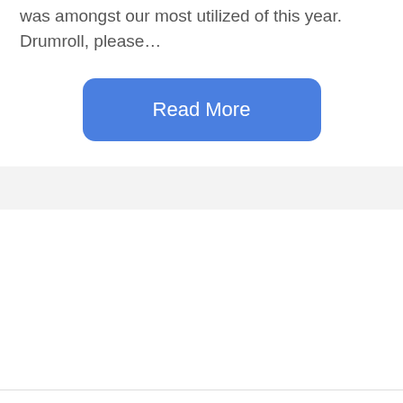was amongst our most utilized of this year. Drumroll, please…
[Figure (other): Blue rounded rectangle button with white text reading 'Read More']